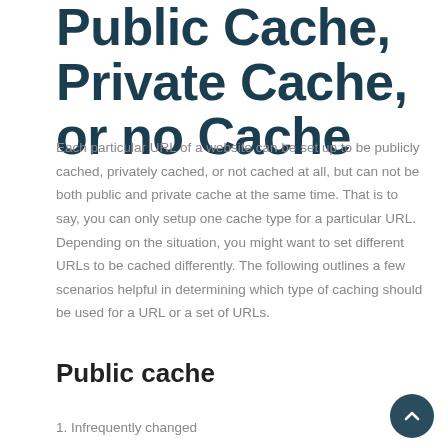Public Cache, Private Cache, or no Cache
Each particular URL of a website can be set up to be publicly cached, privately cached, or not cached at all, but can not be both public and private cache at the same time. That is to say, you can only setup one cache type for a particular URL. Depending on the situation, you might want to set different URLs to be cached differently. The following outlines a few scenarios helpful in determining which type of caching should be used for a URL or a set of URLs.
Public cache
1. Infrequently changed